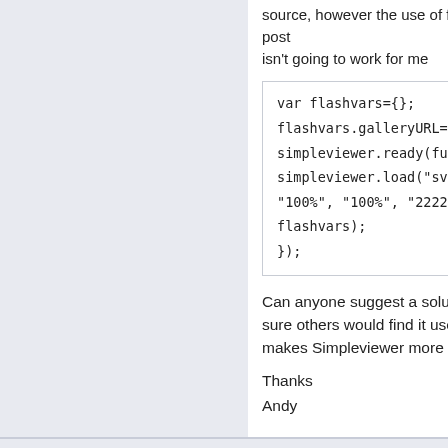source, however the use of flashvars in the post isn't going to work for me
var flashvars={};
flashvars.galleryURL="gallery.php";
simpleviewer.ready(function () {
simpleviewer.load("sv-container",
"100%", "100%", "222222", true,
flashvars);
});
Can anyone suggest a solution for this, I'm sure others would find it useful as this simply makes Simpleviewer more powerful!

Thanks
Andy
Steven @ Si...
2012-06-25 11:47:30
2
Re: SimpleViewer and NextGen Gallery